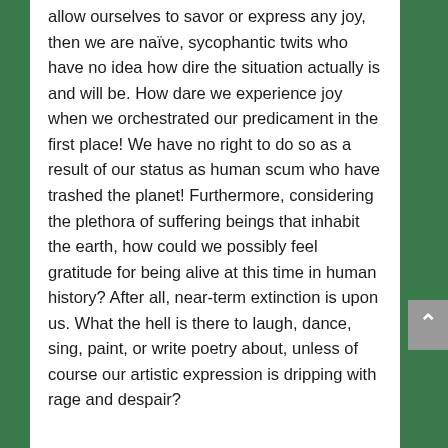allow ourselves to savor or express any joy, then we are naïve, sycophantic twits who have no idea how dire the situation actually is and will be. How dare we experience joy when we orchestrated our predicament in the first place! We have no right to do so as a result of our status as human scum who have trashed the planet! Furthermore, considering the plethora of suffering beings that inhabit the earth, how could we possibly feel gratitude for being alive at this time in human history? After all, near-term extinction is upon us. What the hell is there to laugh, dance, sing, paint, or write poetry about, unless of course our artistic expression is dripping with rage and despair?
I cannot thoroughly answer these questions, but they catapult me to a number of indigenous elders I've been privileged to know. Incisively knowing in every cell of their beings how severe our predicament is,